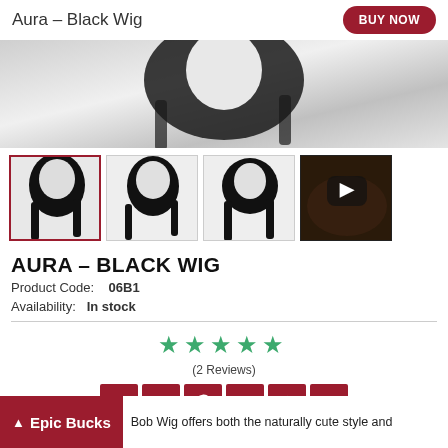Aura - Black Wig
[Figure (photo): Main product image of black bob wig on white mannequin head, shown from front/side angle]
[Figure (photo): Thumbnail 1: Black bob wig, front/side view, selected (red border)]
[Figure (photo): Thumbnail 2: Black bob wig, side view]
[Figure (photo): Thumbnail 3: Black bob wig, back view]
[Figure (photo): Thumbnail 4: Video thumbnail showing inside of wig cap]
AURA – BLACK WIG
Product Code:   06B1
Availability:   In stock
[Figure (other): 5-star rating: 5 green stars]
(2 Reviews)
[Figure (other): Social sharing buttons: Facebook, Twitter, Pinterest, LinkedIn, Favorites, More]
Bob Wig offers both the naturally cute style and